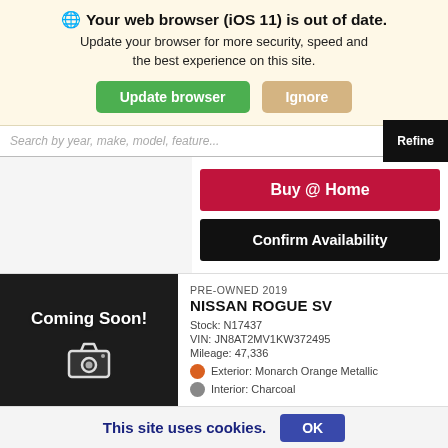🌐 Your web browser (iOS 11) is out of date. Update your browser for more security, speed and the best experience on this site.
Update browser | Ignore
Search by year, make, model, feature...
Refine
Buy @ Home
Confirm Availability
[Figure (illustration): Coming Soon! placeholder with camera icon on dark background]
PRE-OWNED 2019
NISSAN ROGUE SV
Stock: N17437
VIN: JN8AT2MV1KW372495
Mileage: 47,336
Exterior: Monarch Orange Metallic
Interior: Charcoal
This site uses cookies.
OK